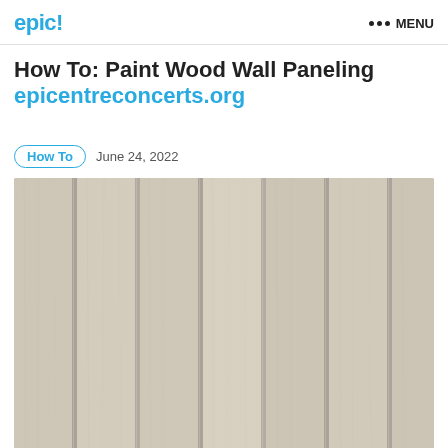epic! ••• MENU
How To: Paint Wood Wall Paneling
epicentreconcerts.org
How To   June 24, 2022
[Figure (photo): Close-up photo of light beige/gray vertical wood wall paneling with grooves between planks]